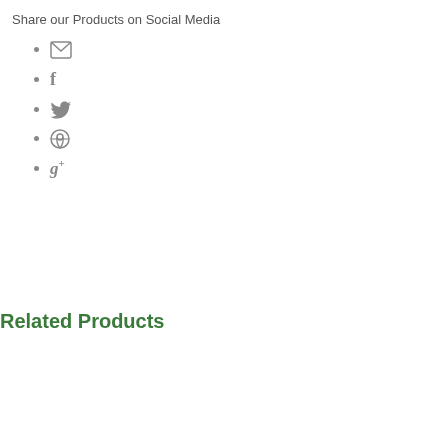Share our Products on Social Media
[email icon]
[Facebook icon]
[Twitter icon]
[Pinterest icon]
[Google+ icon]
Related Products